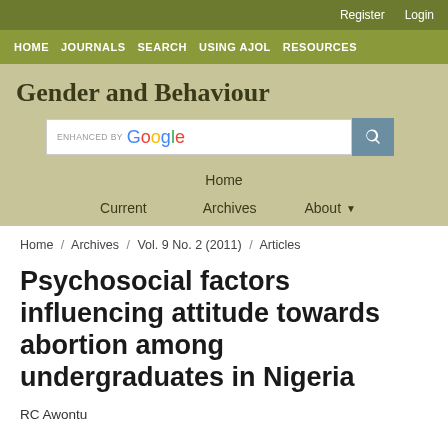Register   Login
HOME   JOURNALS   SEARCH   USING AJOL   RESOURCES
Gender and Behaviour
[Figure (other): Google enhanced search box with search button]
Home
Current   Archives   About ▾
Home / Archives / Vol. 9 No. 2 (2011) / Articles
Psychosocial factors influencing attitude towards abortion among undergraduates in Nigeria
RC Awontu